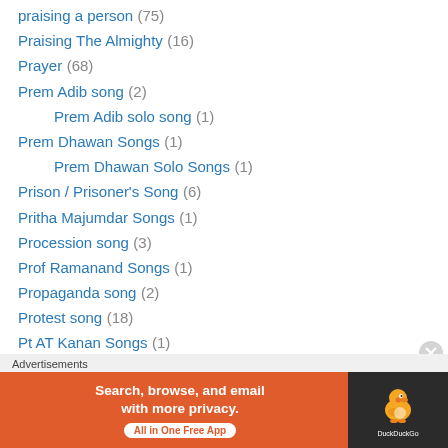praising a person (75)
Praising The Almighty (16)
Prayer (68)
Prem Adib song (2)
Prem Adib solo song (1)
Prem Dhawan Songs (1)
Prem Dhawan Solo Songs (1)
Prison / Prisoner's Song (6)
Pritha Majumdar Songs (1)
Procession song (3)
Prof Ramanand Songs (1)
Propaganda song (2)
Protest song (18)
Pt AT Kanan Songs (1)
Pt AT Kanan Solo Songs (1)
Public lament song (33)
Puppet song (5)
[Figure (infographic): DuckDuckGo advertisement banner: Search, browse, and email with more privacy. All in One Free App]